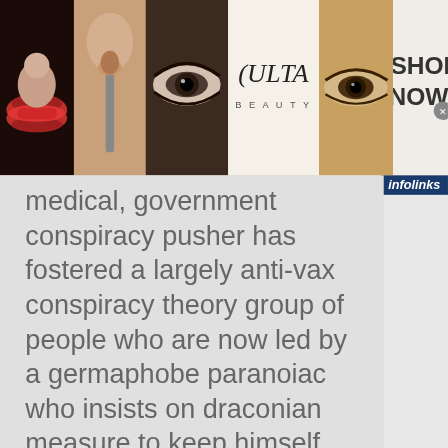[Figure (screenshot): Top banner advertisement for Ulta Beauty showing makeup/cosmetic images including red lips, makeup brush, eye with dramatic makeup, Ulta Beauty logo, close-up eye, and SHOP NOW with close button]
[Figure (screenshot): Infolinks badge in dark blue in top right]
medical, government conspiracy pusher has fostered a largely anti-vax conspiracy theory group of people who are now led by a germaphobe paranoiac who insists on draconian measure to keep himself safe. Reads like something out of Mission Earth.
[Figure (screenshot): Infolinks banner at bottom with blue pennant shape]
[Figure (screenshot): Bottom advertisement: Top Junior Gold Mining Stock - Get access to the next top mining Micro Cap here! www.rivres.com - with gold bars image and blue arrow button]